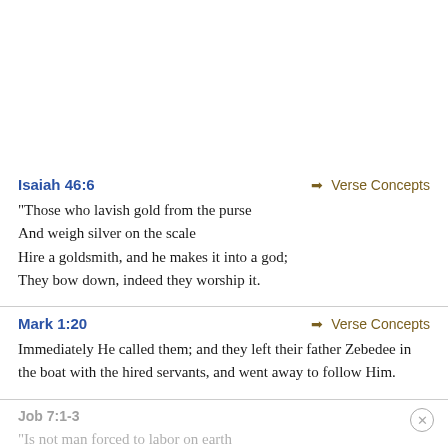Isaiah 46:6
→ Verse Concepts
“Those who lavish gold from the purse
And weigh silver on the scale
Hire a goldsmith, and he makes it into a god;
They bow down, indeed they worship it.
Mark 1:20
→ Verse Concepts
Immediately He called them; and they left their father Zebedee in the boat with the hired servants, and went away to follow Him.
Job 7:1-3
“Is not man forced to labor on earth